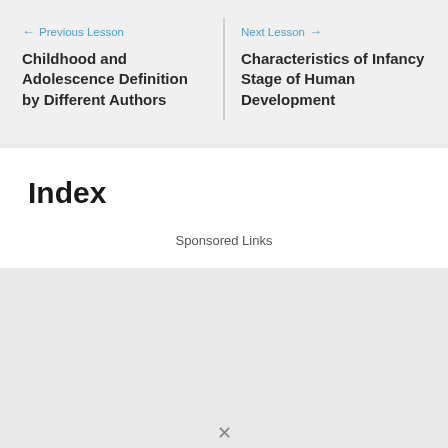← Previous Lesson
Childhood and Adolescence Definition by Different Authors
Next Lesson →
Characteristics of Infancy Stage of Human Development
Index
Sponsored Links